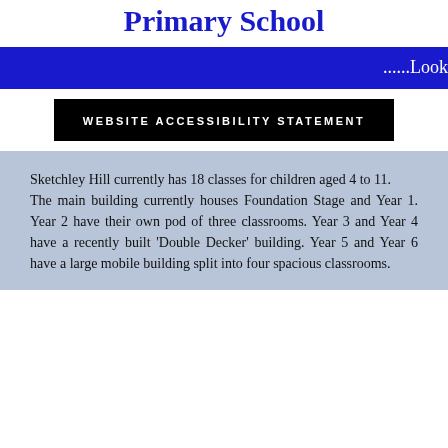Primary School
......Look
WEBSITE ACCESSIBILITY STATEMENT
Sketchley Hill currently has 18 classes for children aged 4 to 11.
The main building currently houses Foundation Stage and Year 1. Year 2 have their own pod of three classrooms. Year 3 and Year 4 have a recently built 'Double Decker' building. Year 5 and Year 6 have a large mobile building split into four spacious classrooms.